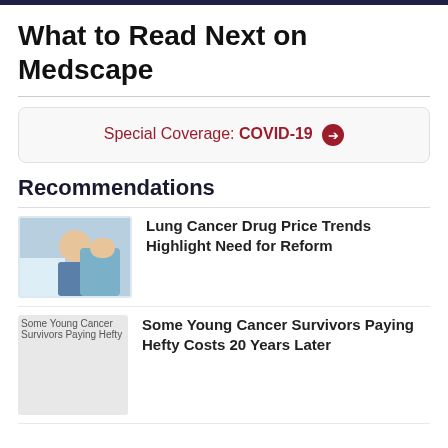What to Read Next on Medscape
Special Coverage: COVID-19 →
Recommendations
Lung Cancer Drug Price Trends Highlight Need for Reform
Some Young Cancer Survivors Paying Hefty Costs 20 Years Later